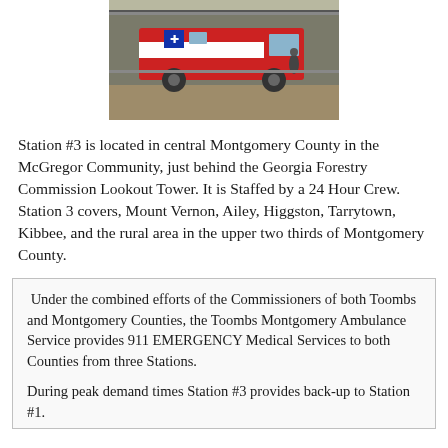[Figure (photo): A red and white ambulance parked in front of a building/fence, with a person visible near the vehicle. Taken outdoors on a dirt/gravel lot.]
Station #3 is located in central Montgomery County in the McGregor Community, just behind the Georgia Forestry Commission Lookout Tower. It is Staffed by a 24 Hour Crew. Station 3 covers, Mount Vernon, Ailey, Higgston, Tarrytown, Kibbee, and the rural area in the upper two thirds of Montgomery County.
Under the combined efforts of the Commissioners of both Toombs and Montgomery Counties, the Toombs Montgomery Ambulance Service provides 911 EMERGENCY Medical Services to both Counties from three Stations.
During peak demand times Station #3 provides back-up to Station #1.